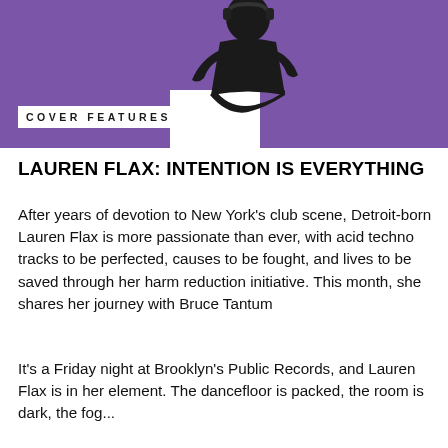[Figure (photo): Photo of Lauren Flax seated on a white cube/block, wearing black outfit, against a purple background. She is viewed from the side/front with headphones around her neck.]
COVER FEATURES
LAUREN FLAX: INTENTION IS EVERYTHING
After years of devotion to New York's club scene, Detroit-born Lauren Flax is more passionate than ever, with acid techno tracks to be perfected, causes to be fought, and lives to be saved through her harm reduction initiative. This month, she shares her journey with Bruce Tantum
It's a Friday night at Brooklyn's Public Records, and Lauren Flax is in her element. The dancefloor is packed, the room is dark, the fog...